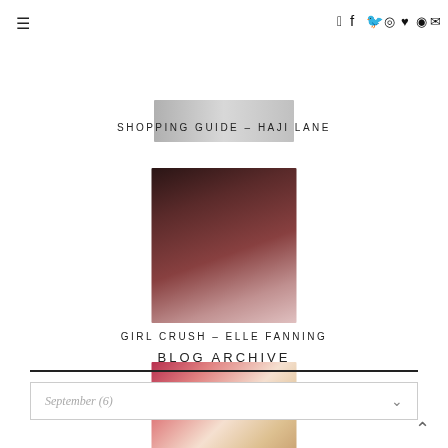☰
Social icons: facebook, twitter, instagram, heart, rss, email
[Figure (photo): Thumbnail image for Shopping Guide - Haji Lane post, gray tones]
SHOPPING GUIDE - HAJI LANE
[Figure (photo): Portrait photo of Elle Fanning with dark tones]
GIRL CRUSH - ELLE FANNING
[Figure (photo): Birthday party table with cake and decorations in pink and cream tones]
VERA TURNS 21 - HOW TO PLAN FOR YOUR 21ST BIRTHDAY PARTY
BLOG ARCHIVE
September (6)